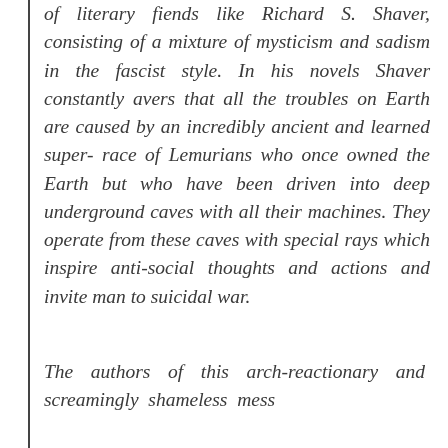of literary fiends like Richard S. Shaver, consisting of a mixture of mysticism and sadism in the fascist style. In his novels Shaver constantly avers that all the troubles on Earth are caused by an incredibly ancient and learned super-race of Lemurians who once owned the Earth but who have been driven into deep underground caves with all their machines. They operate from these caves with special rays which inspire anti-social thoughts and actions and invite man to suicidal war.
The authors of this arch-reactionary and screamingly shameless mess